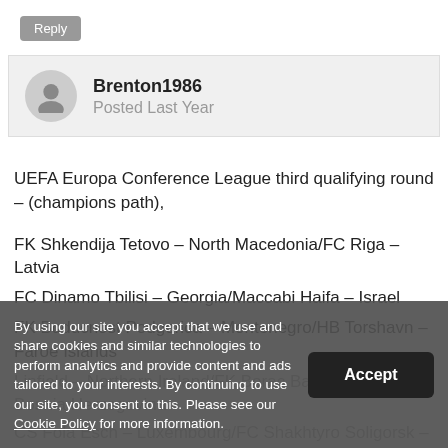Reply
Brenton1986
Posted Last Year
UEFA Europa Conference League third qualifying round – (champions path),

FK Shkendija Tetovo – North Macedonia/FC Riga – Latvia
FC Dinamo Tbilisi – Georgia/Maccabi Haifa – Israel
FK Buducnost Podgorica – Montenegro/HB Torshavn – Faroe Islands
Linfield – Northern Ireland/FK Borac Banja Luka – Bosnia Herzegovina
CS Fola Esch – Luxembourg/FC Shakhtyro Soligorsk – Belarus
Shamrock Rovers – Ireland
Connah's Quay Nomads – Wales/FC Prishtina – Kosovo
Valur Reykjavik – Iceland/FK Bodo Glimt – Norway
By using our site you accept that we use and share cookies and similar technologies to perform analytics and provide content and ads tailored to your interests. By continuing to use our site, you consent to this. Please see our Cookie Policy for more information.